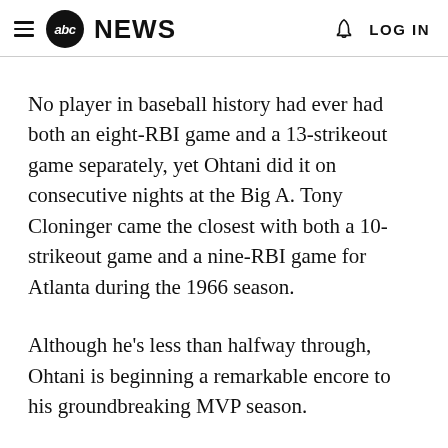abc NEWS  LOG IN
No player in baseball history had ever had both an eight-RBI game and a 13-strikeout game separately, yet Ohtani did it on consecutive nights at the Big A. Tony Cloninger came the closest with both a 10-strikeout game and a nine-RBI game for Atlanta during the 1966 season.
Although he's less than halfway through, Ohtani is beginning a remarkable encore to his groundbreaking MVP season.